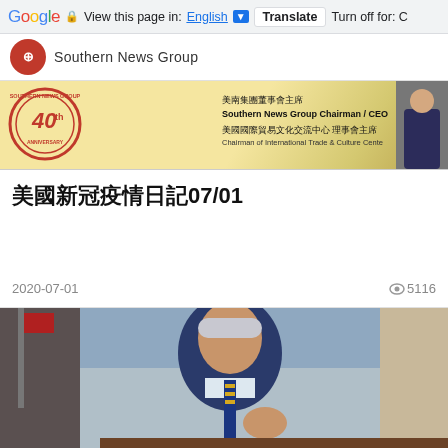Google  View this page in: English ▼  Translate  Turn off for: C
Southern News Group
[Figure (photo): Southern News Group 40th Anniversary banner with red circular stamp logo and Chinese text identifying the Southern News Group Chairman/CEO]
美國新冠疫情日記07/01
2020-07-01
👁 5116
[Figure (photo): Photo of President Joe Biden in a dark navy suit with blue and gold striped tie, seated at a desk, appearing to speak or gesture]